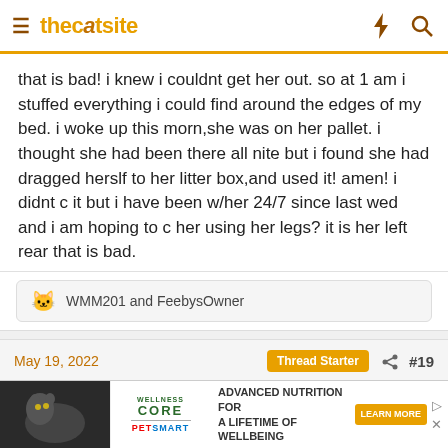thecatsite
that is bad! i knew i couldnt get her out. so at 1 am i stuffed everything i could find around the edges of my bed. i woke up this morn,she was on her pallet. i thought she had been there all nite but i found she had dragged herslf to her litter box,and used it! amen! i didnt c it but i have been w/her 24/7 since last wed and i am hoping to c her using her legs? it is her left rear that is bad.
WMM201 and FeebysOwner
May 19, 2022
Thread Starter
#19
[Figure (infographic): Advertisement banner: Wellness Core pet food promoted at PetSmart — Advanced Nutrition for a Lifetime of Wellbeing, Learn More button]